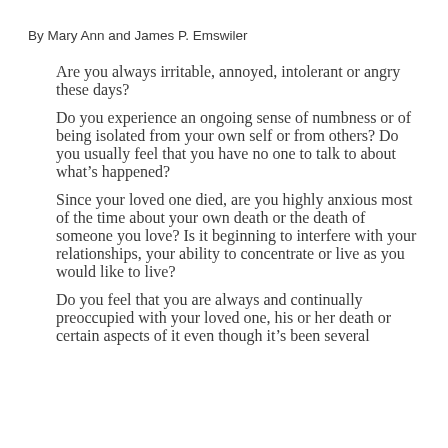By Mary Ann and James P. Emswiler
Are you always irritable, annoyed, intolerant or angry these days?
Do you experience an ongoing sense of numbness or of being isolated from your own self or from others? Do you usually feel that you have no one to talk to about what’s happened?
Since your loved one died, are you highly anxious most of the time about your own death or the death of someone you love? Is it beginning to interfere with your relationships, your ability to concentrate or live as you would like to live?
Do you feel that you are always and continually preoccupied with your loved one, his or her death or certain aspects of it even though it’s been several